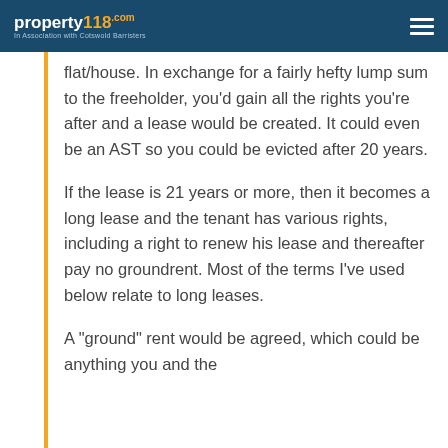property118.com — In Association with Cotswold Barristers
flat/house. In exchange for a fairly hefty lump sum to the freeholder, you'd gain all the rights you're after and a lease would be created. It could even be an AST so you could be evicted after 20 years.
If the lease is 21 years or more, then it becomes a long lease and the tenant has various rights, including a right to renew his lease and thereafter pay no groundrent. Most of the terms I've used below relate to long leases.
A "ground" rent would be agreed, which could be anything you and the